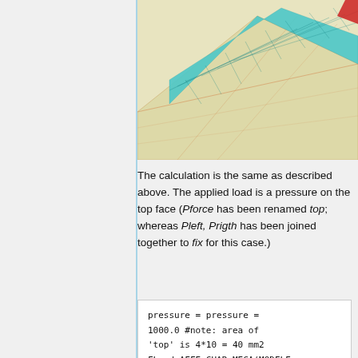[Figure (illustration): 3D mesh/CAD rendering of a wedge or ramp shape with teal/cyan colored mesh on the top face and light yellow background. A small red element is visible at the top right corner. The model shows a trapezoidal ramp with mesh lines.]
The calculation is the same as described above. The applied load is a pressure on the top face (Pforce has been renamed top; whereas Pleft, Prigth has been joined together to fix for this case.)
pressure = pressure = 1000.0  #note: area of 'top' is 4*10 = 40 mm2
FLoad=AFFE_CHAR_MECA(MODELE=pmo

DDL_IMPO =